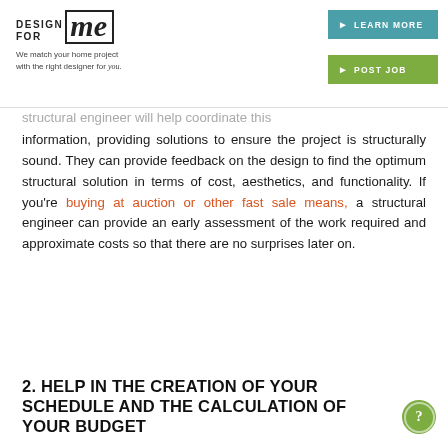Design For Me — We match your home project with the right designer for you.
structural engineer will help coordinate this information, providing solutions to ensure the project is structurally sound. They can provide feedback on the design to find the optimum structural solution in terms of cost, aesthetics, and functionality. If you're buying at auction or other fast sale means, a structural engineer can provide an early assessment of the work required and approximate costs so that there are no surprises later on.
2. HELP IN THE CREATION OF YOUR SCHEDULE AND THE CALCULATION OF YOUR BUDGET